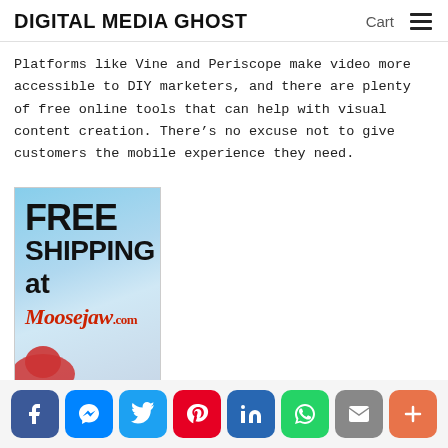DIGITAL MEDIA GHOST   Cart ☰
Platforms like Vine and Periscope make video more accessible to DIY marketers, and there are plenty of free online tools that can help with visual content creation. There's no excuse not to give customers the mobile experience they need.
[Figure (photo): Advertisement image showing 'FREE SHIPPING at Moosejaw.com' text on a sky background with a character at the bottom.]
Social sharing bar with Facebook, Messenger, Twitter, Pinterest, LinkedIn, WhatsApp, Email, and More buttons